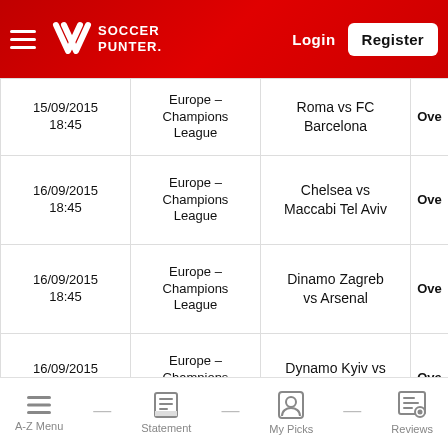[Figure (logo): Soccer Punter logo with hamburger menu, Login and Register buttons on red gradient header]
| Date/Time | League | Match | Bet |
| --- | --- | --- | --- |
| 15/09/2015 18:45 | Europe - Champions League | Roma vs FC Barcelona | Ove... |
| 16/09/2015 18:45 | Europe - Champions League | Chelsea vs Maccabi Tel Aviv | Ove... |
| 16/09/2015 18:45 | Europe - Champions League | Dinamo Zagreb vs Arsenal | Ove... |
| 16/09/2015 18:45 | Europe - Champions League | Dynamo Kyiv vs Porto | Ove... |
A-Z Menu — Statement — My Picks — Reviews